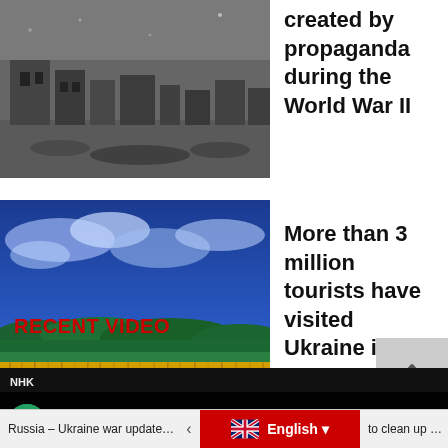[Figure (photo): Black and white photograph of a ruined city or village, possibly wartime destruction]
created by propaganda during the World War II
[Figure (photo): Colorful landscape photo with golden wheat field in foreground and dramatic blue sky with clouds above green hills]
More than 3 million tourists have visited Ukraine in 2021
RECENT VIDEO
[Figure (screenshot): Video player showing Pink Floyd - Hey Hey Rise Up (feat. ...) from NK channel]
Russia – Ukraine war updates: dail... | English | to clean up D...